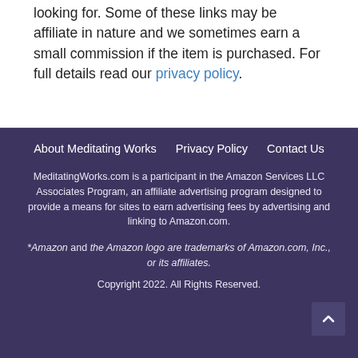looking for. Some of these links may be affiliate in nature and we sometimes earn a small commission if the item is purchased. For full details read our privacy policy.
About Meditating Works   Privacy Policy   Contact Us
MeditatingWorks.com is a participant in the Amazon Services LLC Associates Program, an affiliate advertising program designed to provide a means for sites to earn advertising fees by advertising and linking to Amazon.com.
*Amazon and the Amazon logo are trademarks of Amazon.com, Inc., or its affiliates.
Copyright 2022. All Rights Reserved.